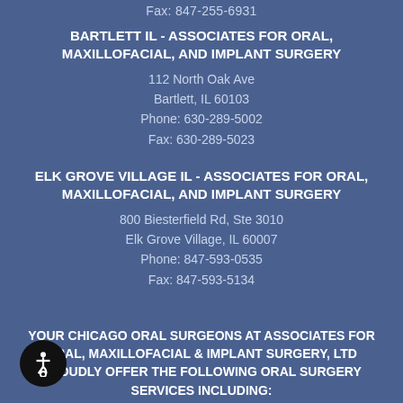Fax:  847-255-6931
BARTLETT IL - ASSOCIATES FOR ORAL, MAXILLOFACIAL, AND IMPLANT SURGERY
112 North Oak Ave
Bartlett, IL 60103
Phone:  630-289-5002
Fax:  630-289-5023
ELK GROVE VILLAGE IL - ASSOCIATES FOR ORAL, MAXILLOFACIAL, AND IMPLANT SURGERY
800 Biesterfield Rd, Ste 3010
Elk Grove Village, IL 60007
Phone:  847-593-0535
Fax:  847-593-5134
YOUR CHICAGO ORAL SURGEONS AT ASSOCIATES FOR ORAL, MAXILLOFACIAL & IMPLANT SURGERY, LTD PROUDLY OFFER THE FOLLOWING ORAL SURGERY SERVICES INCLUDING: